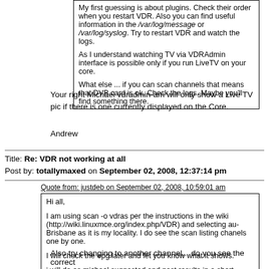My first guessing is about plugins. Check their order when you restart VDR. Also you can find useful information in the /var/log/message or /var/log/syslog. Try to restart VDR and watch the logs.

As I understand watching TV via VDRAdmin interface is possible only if you run LiveTV on your core.

What else ... if you can scan channels that means that DVB card is ok. Check the logs. Maybe you'll find something there.
Your right Michael vdradmin-am will only show a Live TV pic if there is one currently displayed on the Core.
Andrew
Title: Re: VDR not working at all
Post by: totallymaxed on September 02, 2008, 12:37:14 pm
Quote from: justdeb on September 02, 2008, 10:59:01 am
Hi all,

I am using scan -o vdras per the instructions in the wiki (http://wiki.linuxmce.org/index.php/VDR) and selecting au-Brisbane as it is my locality. I do see the scan listing chanels one by one.

I will check the epg later and let you know what it shows.

i will do as michael suggested and post results in a short while.

Rgds

Justin
Also try changing to another channel... do you see the correct